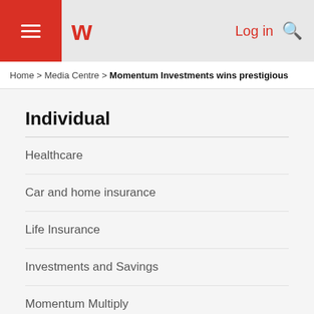≡ w Log in 🔍
Home > Media Centre > Momentum Investments wins prestigious
Individual
Healthcare
Car and home insurance
Life Insurance
Investments and Savings
Momentum Multiply
Momentum Trust